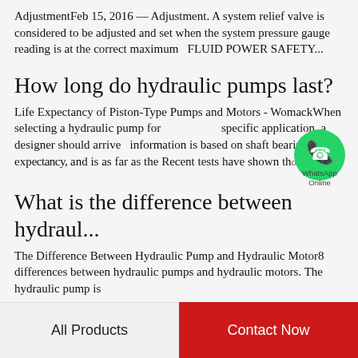AdjustmentFeb 15, 2016 — Adjustment. A system relief valve is considered to be adjusted and set when the system pressure gauge reading is at the correct maximum  FLUID POWER SAFETY...
How long do hydraulic pumps last?
Life Expectancy of Piston-Type Pumps and Motors - WomackWhen selecting a hydraulic pump for specific application, a designer should arrive information is based on shaft bearing life expectancy, and is as far as the Recent tests have shown that
[Figure (logo): WhatsApp green circular logo with phone icon, labeled 'WhatsApp' and 'Online']
What is the difference between hydraul...
The Difference Between Hydraulic Pump and Hydraulic Motor8 differences between hydraulic pumps and hydraulic motors. The hydraulic pump is
All Products    Contact Now